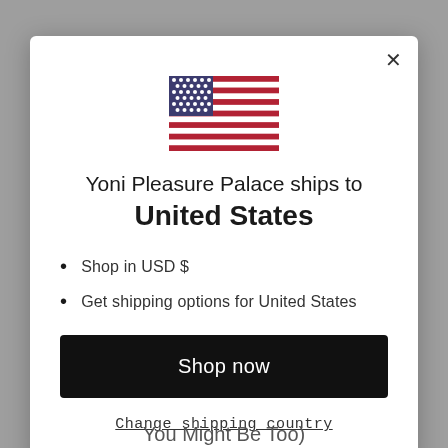[Figure (illustration): US flag SVG illustration shown centered in modal]
Yoni Pleasure Palace ships to United States
Shop in USD $
Get shipping options for United States
Shop now
Change shipping country
You Might Be Too)